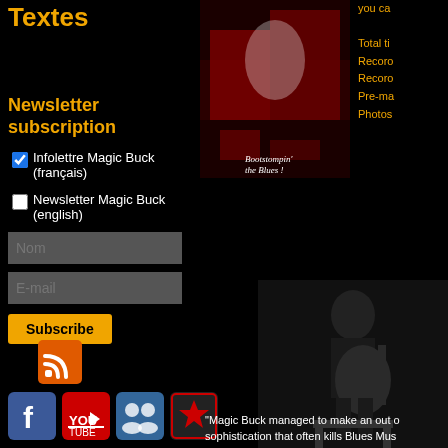Textes
Newsletter subscription
Infolettre Magic Buck (français)
Newsletter Magic Buck (english)
[Figure (photo): Concert photo with red lighting, text overlay 'Bootstompin' the Blues !']
[Figure (photo): Black and white photo of a musician sitting with a guitar]
{pla
you ca
Total ti
Recoro
Recoro
Pre-ma
Photos
"Magic Buck managed to make an out o sophistication that often kills Blues Mus